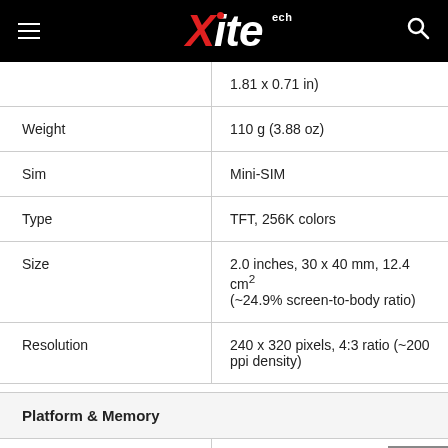XiteTech
| Attribute | Value |
| --- | --- |
|  | 1.81 x 0.71 in) |
| Weight | 110 g (3.88 oz) |
| Sim | Mini-SIM |
| Type | TFT, 256K colors |
| Size | 2.0 inches, 30 x 40 mm, 12.4 cm2 (~24.9% screen-to-body ratio) |
| Resolution | 240 x 320 pixels, 4:3 ratio (~200 ppi density) |
Platform & Memory
| Attribute | Value |
| --- | --- |
| Card slot | microSD, up to 2 GB (dedicated slot), 64 MB included |